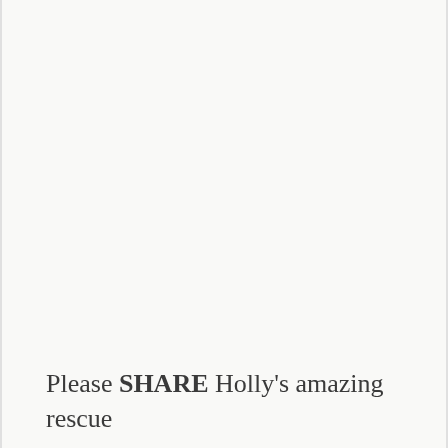Please SHARE Holly's amazing rescue